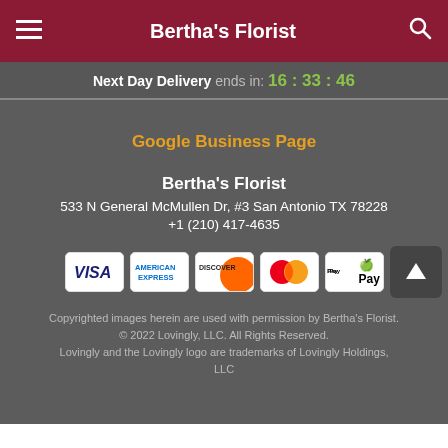Bertha's Florist
Next Day Delivery ends in: 16 : 33 : 46
Google Business Page
Bertha's Florist
533 N General McMullen Dr, #3 San Antonio TX 78228
+1 (210) 417-4635
[Figure (other): Payment method icons: Visa, American Express, Discover, Mastercard, Apple Pay]
Copyrighted images herein are used with permission by Bertha's Florist. © 2022 Lovingly, LLC. All Rights Reserved. Lovingly and the Lovingly logo are trademarks of Lovingly Holdings, LLC